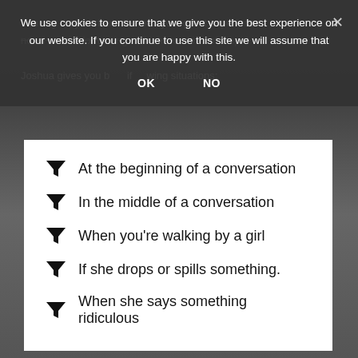We use cookies to ensure that we give you the best experience on our website. If you continue to use this site we will assume that you are happy with this.
OK   NO
You say they attribute the be...you, great experience now I used it for texting...which was kind of stupid.
Joshua gives you b...if...wing situations:
At the beginning of a conversation
In the middle of a conversation
When you're walking by a girl
If she drops or spills something.
When she says something ridiculous